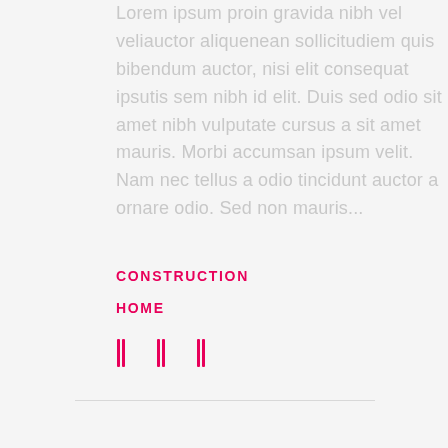Lorem ipsum proin gravida nibh vel veliauctor aliquenean sollicitudiem quis bibendum auctor, nisi elit consequat ipsutis sem nibh id elit. Duis sed odio sit amet nibh vulputate cursus a sit amet mauris. Morbi accumsan ipsum velit. Nam nec tellus a odio tincidunt auctor a ornare odio. Sed non mauris...
CONSTRUCTION
HOME
[Figure (other): Three vertical bar social media icons in pink/red color]